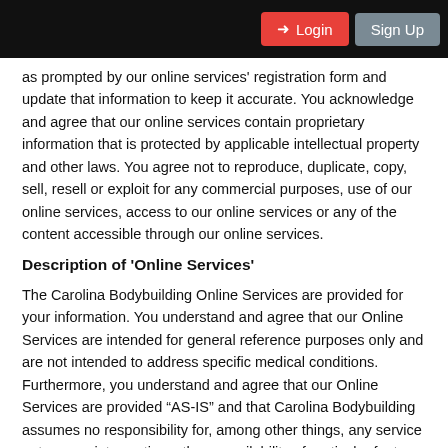Login | Sign Up
as prompted by our online services' registration form and update that information to keep it accurate. You acknowledge and agree that our online services contain proprietary information that is protected by applicable intellectual property and other laws. You agree not to reproduce, duplicate, copy, sell, resell or exploit for any commercial purposes, use of our online services, access to our online services or any of the content accessible through our online services.
Description of 'Online Services'
The Carolina Bodybuilding Online Services are provided for your information. You understand and agree that our Online Services are intended for general reference purposes only and are not intended to address specific medical conditions. Furthermore, you understand and agree that our Online Services are provided “AS-IS” and that Carolina Bodybuilding assumes no responsibility for, among other things, any service outages or interruptions, the unavailability of particular features or services, and the inability to access all or part of our Online Services.